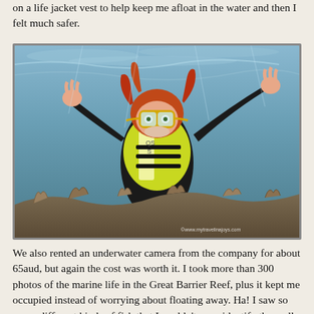on a life jacket vest to help keep me afloat in the water and then I felt much safer.
[Figure (photo): A person snorkeling underwater at the Great Barrier Reef, wearing a black wetsuit, yellow diving mask, and a yellow-green life jacket vest marked 'QS S'. The snorkeler has red hair and is floating above coral reef with hands raised. A watermark reads www.mytravelinajoys.com.]
We also rented an underwater camera from the company for about 65aud, but again the cost was worth it. I took more than 300 photos of the marine life in the Great Barrier Reef, plus it kept me occupied instead of worrying about floating away. Ha! I saw so many different kinds of fish that I couldn't even identify them all.